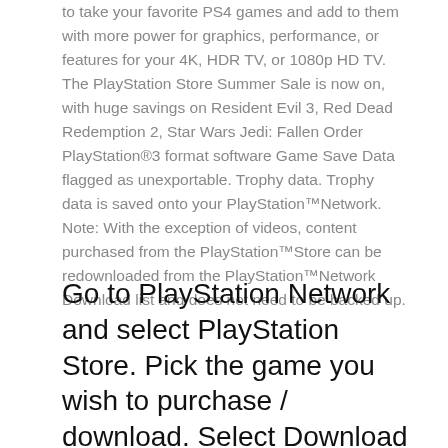to take your favorite PS4 games and add to them with more power for graphics, performance, or features for your 4K, HDR TV, or 1080p HD TV. The PlayStation Store Summer Sale is now on, with huge savings on Resident Evil 3, Red Dead Redemption 2, Star Wars Jedi: Fallen Order PlayStation®3 format software Game Save Data flagged as unexportable. Trophy data. Trophy data is saved onto your PlayStation™Network. Note: With the exception of videos, content purchased from the PlayStation™Store can be redownloaded from the PlayStation™Network Download list and does not need to be backed up.
Go to PlayStation Network and select PlayStation Store. Pick the game you wish to purchase / download. Select Download / Purchase / Buy and